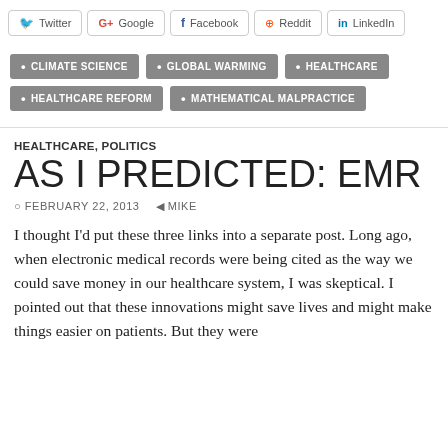[Figure (other): Social sharing buttons row: Twitter, G+ Google, Facebook, Reddit, LinkedIn]
CLIMATE SCIENCE
GLOBAL WARMING
HEALTHCARE
HEALTHCARE REFORM
MATHEMATICAL MALPRACTICE
HEALTHCARE, POLITICS
AS I PREDICTED: EMR
FEBRUARY 22, 2013   MIKE
I thought I'd put these three links into a separate post. Long ago, when electronic medical records were being cited as the way we could save money in our healthcare system, I was skeptical. I pointed out that these innovations might save lives and might make things easier on patients. But they were